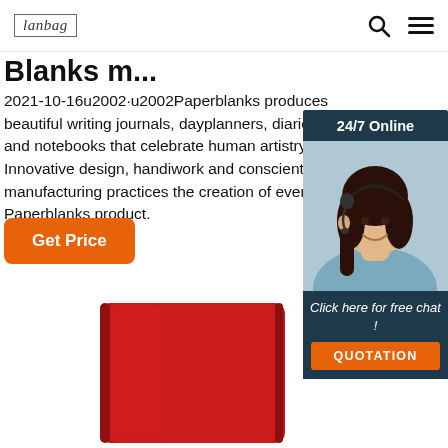lanbag [logo] | search icon | menu icon
Blanks m...
2021-10-16u2002·u2002Paperblanks produces beautiful writing journals, dayplanners, diaries, planners and notebooks that celebrate human artistry and craft. Innovative design, handiwork and conscientious manufacturing practices the creation of every Paperblanks product.
Get Price
[Figure (photo): Chat widget showing 24/7 Online support with woman wearing headset, 'Click here for free chat!' text and QUOTATION button]
[Figure (photo): Red hardcover notebook/journal product photo]